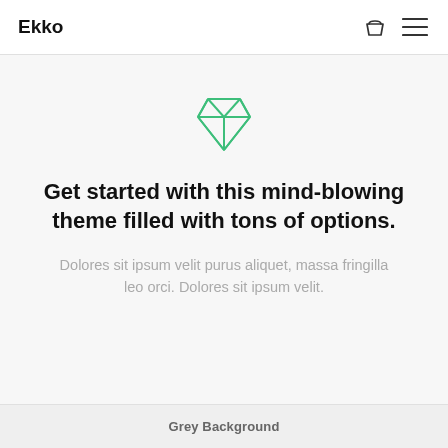Ekko
[Figure (illustration): Green outline diamond/gem icon]
Get started with this mind-blowing theme filled with tons of options.
Dolores sit ipsum velit purus aliquet, massa fringilla leo orci. Dolores sit ipsum velit.
Grey Background